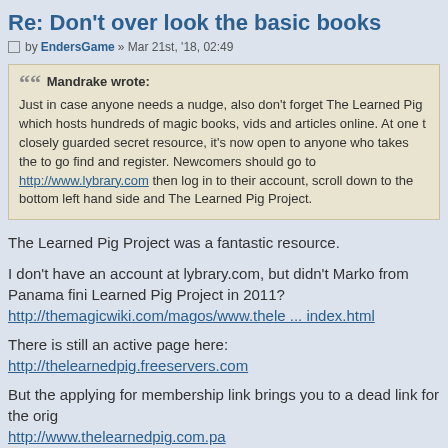Re: Don't over look the basic books
by EndersGame » Mar 21st, '18, 02:49
Mandrake wrote:
Just in case anyone needs a nudge, also don't forget The Learned Pig which hosts hundreds of magic books, vids and articles online. At one t closely guarded secret resource, it's now open to anyone who takes the to go find and register. Newcomers should go to http://www.lybrary.com then log in to their account, scroll down to the bottom left hand side and The Learned Pig Project.
The Learned Pig Project was a fantastic resource.
I don't have an account at lybrary.com, but didn't Marko from Panama fini Learned Pig Project in 2011?
http://themagicwiki.com/magos/www.thele ... index.html
There is still an active page here:
http://thelearnedpig.freeservers.com
But the applying for membership link brings you to a dead link for the orig http://www.thelearnedpig.com.pa
I remember being a member of The Learned Pig many years ago (after n